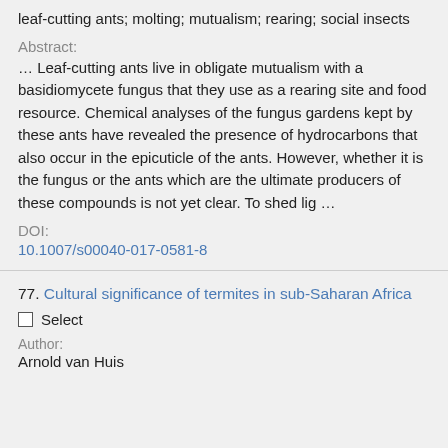leaf-cutting ants; molting; mutualism; rearing; social insects
Abstract:
… Leaf-cutting ants live in obligate mutualism with a basidiomycete fungus that they use as a rearing site and food resource. Chemical analyses of the fungus gardens kept by these ants have revealed the presence of hydrocarbons that also occur in the epicuticle of the ants. However, whether it is the fungus or the ants which are the ultimate producers of these compounds is not yet clear. To shed lig …
DOI:
10.1007/s00040-017-0581-8
77. Cultural significance of termites in sub-Saharan Africa
Select
Author:
Arnold van Huis